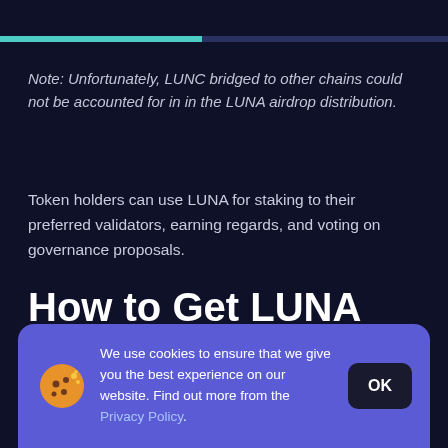[Figure (other): A horizontal progress bar, partially filled with teal/cyan color against a dark background, spanning the full width of the page near the top.]
Note: Unfortunately, LUNC bridged to other chains could not be accounted for in in the LUNA airdrop distribution.
Token holders can use LUNA for staking to their preferred validators, earning regards, and voting on governance proposals.
How to Get LUNA 2.0
If you weren't eligible for the initial airdrop, don't fret! There
[Figure (other): A cookie consent banner with a purple background, a cookie emoji icon, text 'We use cookies to ensure that we give you the best experience on our website. Find out more from the Privacy Policy.' and a dark OK button.]